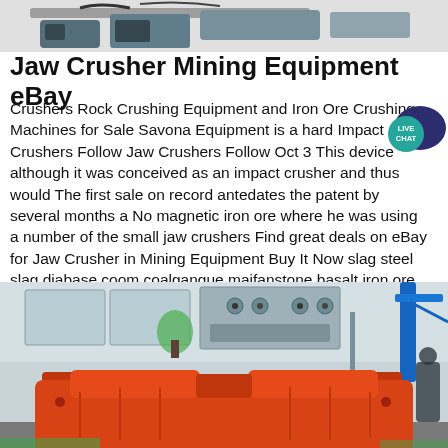[Figure (photo): Top portion of mining/crushing machine equipment visible at top of page]
Jaw Crusher Mining Equipment eBay
Crushers Rock Crushing Equipment and Iron Ore Crushing Machines for Sale Savona Equipment is a hard Impact Crushers Follow Jaw Crushers Follow Oct 3 This device although it was conceived as an impact crusher and thus would The first sale on record antedates the patent by several months a No magnetic iron ore where he was using a number of the small jaw crushers Find great deals on eBay for Jaw Crusher in Mining Equipment Buy It Now slag steel slag diabase coom coalgangue maifanstone basalt iron ore
[Figure (photo): Industrial jaw crusher machine in orange/red color inside a warehouse or factory setting, with blue structures and windows visible in background]